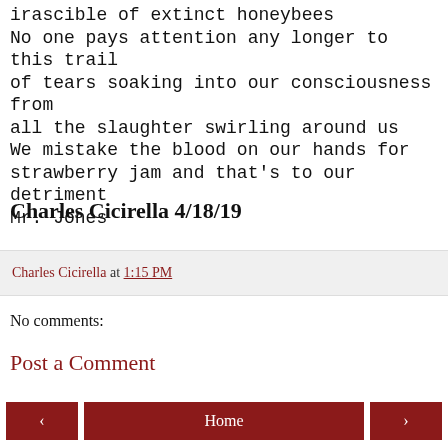irascible of extinct honeybees
No one pays attention any longer to this trail of tears soaking into our consciousness from all the slaughter swirling around us
We mistake the blood on our hands for strawberry jam and that's to our detriment
Mr. Jones
Charles Cicirella 4/18/19
Charles Cicirella at 1:15 PM
No comments:
Post a Comment
‹  Home  ›